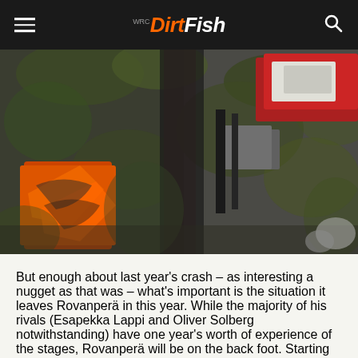DirtFish
[Figure (photo): Close-up photo of a crashed rally car among trees and vegetation. Orange rally car livery with WRC branding visible on the left side. Red and white car parts visible on the right. Debris and foliage surrounding the wreckage.]
But enough about last year's crash – as interesting a nugget as that was – what's important is the situation it leaves Rovanperä in this year. While the majority of his rivals (Esapekka Lappi and Oliver Solberg notwithstanding) have one year's worth of experience of the stages, Rovanperä will be on the back foot. Starting from zero.